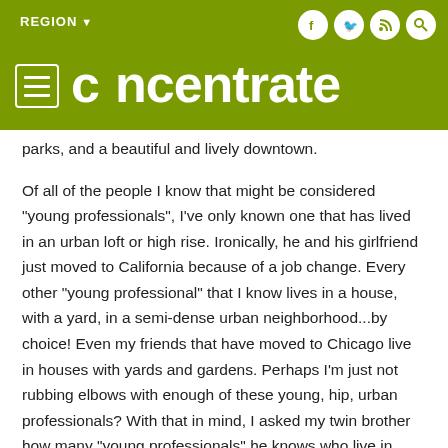concentrate — REGION
parks, and a beautiful and lively downtown.
Of all of the people I know that might be considered "young professionals", I've only known one that has lived in an urban loft or high rise.  Ironically, he and his girlfriend just moved to California because of a job change.  Every other "young professional" that I know lives in a house, with a yard, in a semi-dense urban neighborhood...by choice!  Even my friends that have moved to Chicago live in houses with yards and gardens.  Perhaps I'm just not rubbing elbows with enough of these young, hip, urban professionals?  With that in mind, I asked my twin brother how many "young professionals" he knows who live in dense, urban housing like lofts or highrises?  He lives in Detroit,